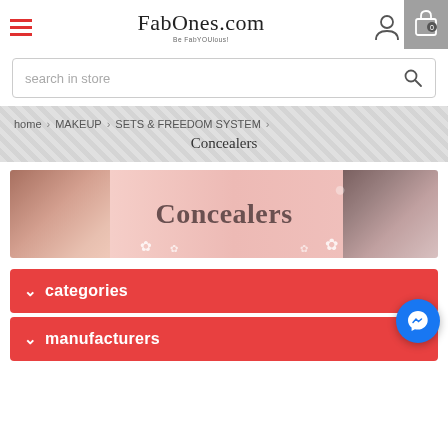FabOnes.com — Be FabYOUlous!
search in store
home > MAKEUP > SETS & FREEDOM SYSTEM > Concealers
[Figure (illustration): Concealers category banner with a woman applying makeup on the left, large bold text 'Concealers' in the center, and makeup products on the right]
categories
manufacturers